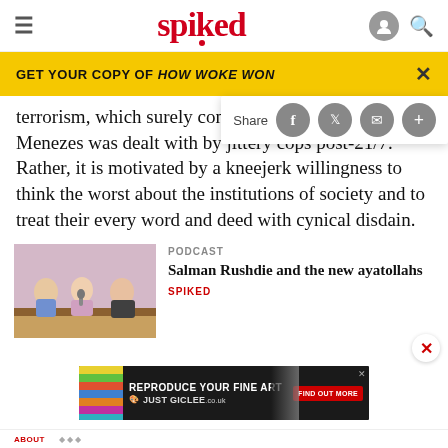spiked
GET YOUR COPY OF HOW WOKE WON
terrorism, which surely contrib... Menezes was dealt with by jittery cops post-21/7. Rather, it is motivated by a kneejerk willingness to think the worst about the institutions of society and to treat their every word and deed with cynical disdain.
[Figure (photo): Podcast thumbnail showing three people seated in conversation, two men and one woman, in a studio setting with pink background]
PODCAST
Salman Rushdie and the new ayatollahs
SPIKED
[Figure (screenshot): Advertisement banner: REPRODUCE YOUR FINE ART JUST GICLEE.co.uk FIND OUT MORE]